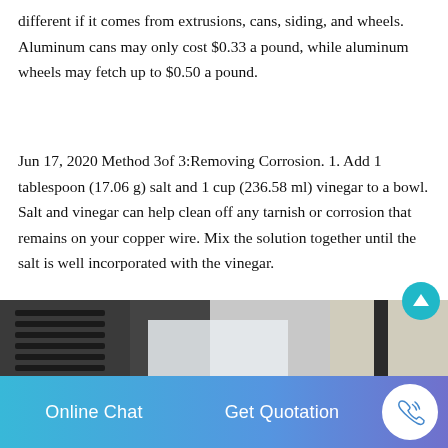different if it comes from extrusions, cans, siding, and wheels. Aluminum cans may only cost $0.33 a pound, while aluminum wheels may fetch up to $0.50 a pound.
Jun 17, 2020 Method 3of 3:Removing Corrosion. 1. Add 1 tablespoon (17.06 g) salt and 1 cup (236.58 ml) vinegar to a bowl. Salt and vinegar can help clean off any tarnish or corrosion that remains on your copper wire. Mix the solution together until the salt is well incorporated with the vinegar.
[Figure (photo): Photo of dark metal extrusions/bars stacked outdoors on a concrete surface, with a white sheet and a metal rod visible.]
Online Chat    Get Quotation